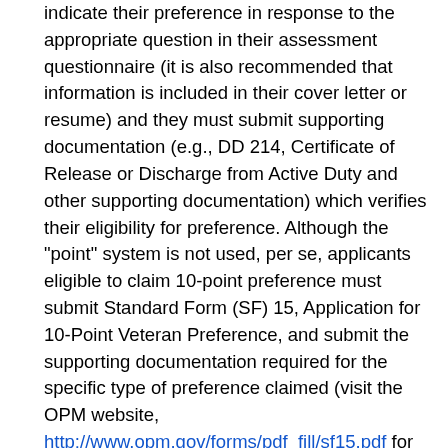indicate their preference in response to the appropriate question in their assessment questionnaire (it is also recommended that information is included in their cover letter or resume) and they must submit supporting documentation (e.g., DD 214, Certificate of Release or Discharge from Active Duty and other supporting documentation) which verifies their eligibility for preference. Although the "point" system is not used, per se, applicants eligible to claim 10-point preference must submit Standard Form (SF) 15, Application for 10-Point Veteran Preference, and submit the supporting documentation required for the specific type of preference claimed (visit the OPM website, http://www.opm.gov/forms/pdf_fill/sf15.pdf for a copy of SF 15, which lists the types of 10-point preferences and the required supporting document(s). Applicants should note that SF 15 requires supporting documentation associated with service-connected